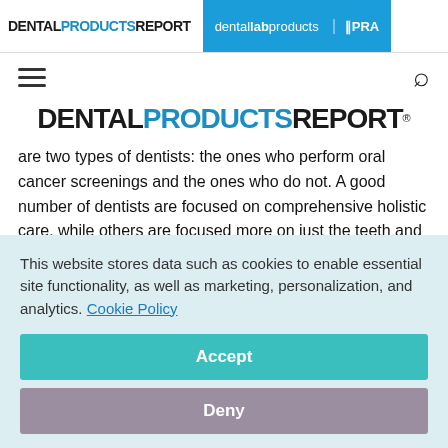DENTAL PRODUCTS REPORT | dental lab products | IPRA
[Figure (logo): Hamburger menu icon and search icon navigation controls]
[Figure (logo): DENTAL PRODUCTS REPORT large logo]
are two types of dentists: the ones who perform oral cancer screenings and the ones who do not. A good number of dentists are focused on comprehensive holistic care, while others are focused more on just the teeth and their supporting structures.
This website stores data such as cookies to enable essential site functionality, as well as marketing, personalization, and analytics. Cookie Policy
Accept
Deny